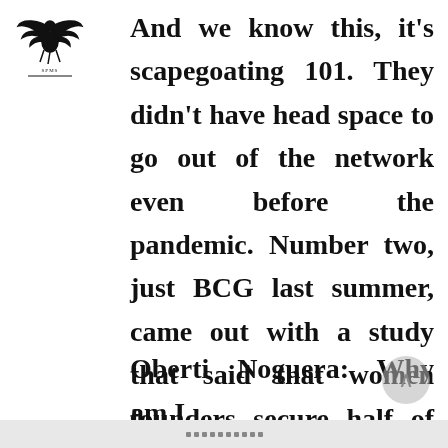[Figure (logo): Stylized emblem logo with eagle and decorative elements, appearing in top-left corner]
And we know this, it's scapegoating 101. They didn't have head space to go out of the network even before the pandemic. Number two, just BCG last summer, came out with a study that said that women founders secure half of the funding of their male peers, even though they have double the revenue.
Oberti Noguera: Why am I